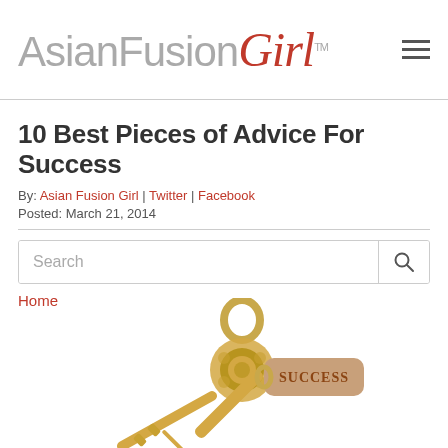AsianFusionGirl™
10 Best Pieces of Advice For Success
By: Asian Fusion Girl | Twitter | Facebook
Posted: March 21, 2014
Search
Home
[Figure (photo): A decorative gold skeleton key with an ornate bow, attached to a rectangular tag reading 'SUCCESS' on a white background.]